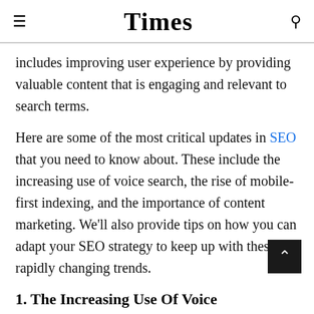Times
includes improving user experience by providing valuable content that is engaging and relevant to search terms.
Here are some of the most critical updates in SEO that you need to know about. These include the increasing use of voice search, the rise of mobile-first indexing, and the importance of content marketing. We’ll also provide tips on how you can adapt your SEO strategy to keep up with these rapidly changing trends.
1. The Increasing Use Of Voice